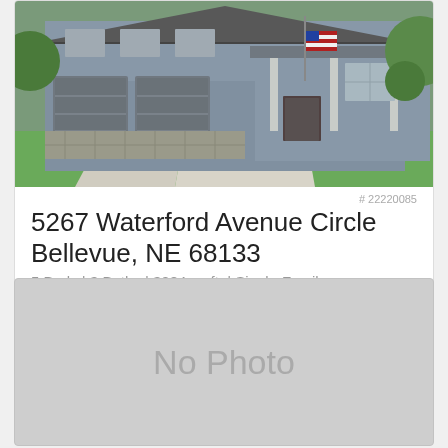[Figure (photo): Exterior photo of a two-story gray house with three-car garage, stone accents, covered porch with American flag, green lawn and trees in background]
# 22220085
5267 Waterford Avenue Circle
Bellevue, NE 68133
5 Beds | 3 Baths | 3084 sq.ft. | Single-Family
♡ $580,000 ● Active
[Figure (photo): No Photo placeholder — gray rectangle with centered 'No Photo' text]